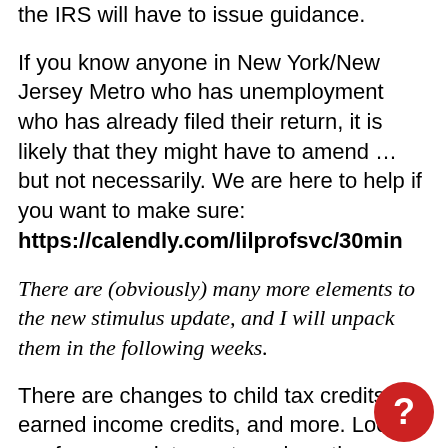the IRS will have to issue guidance.
If you know anyone in New York/New Jersey Metro who has unemployment who has already filed their return, it is likely that they might have to amend ... but not necessarily. We are here to help if you want to make sure: https://calendly.com/lilprofsvc/30min
There are (obviously) many more elements to the new stimulus update, and I will unpack them in the following weeks.
There are changes to child tax credits, earned income credits, and more. Look out for my update next week on those items.